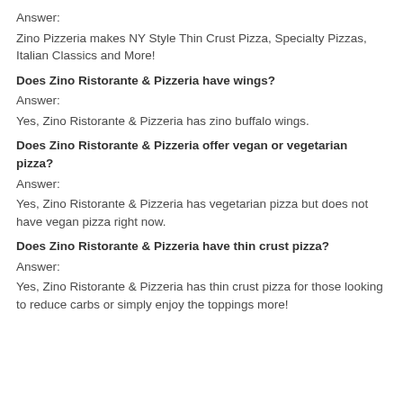Answer:
Zino Pizzeria makes NY Style Thin Crust Pizza, Specialty Pizzas, Italian Classics and More!
Does Zino Ristorante & Pizzeria have wings?
Answer:
Yes, Zino Ristorante & Pizzeria has zino buffalo wings.
Does Zino Ristorante & Pizzeria offer vegan or vegetarian pizza?
Answer:
Yes, Zino Ristorante & Pizzeria has vegetarian pizza but does not have vegan pizza right now.
Does Zino Ristorante & Pizzeria have thin crust pizza?
Answer:
Yes, Zino Ristorante & Pizzeria has thin crust pizza for those looking to reduce carbs or simply enjoy the toppings more!